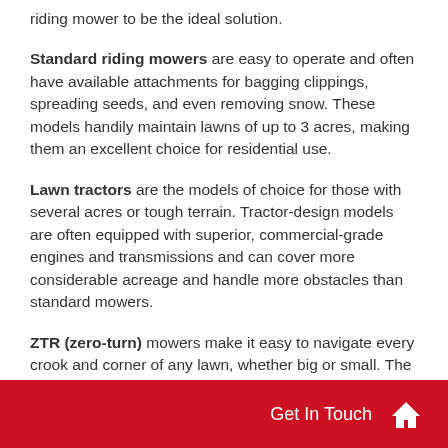riding mower to be the ideal solution.
Standard riding mowers are easy to operate and often have available attachments for bagging clippings, spreading seeds, and even removing snow. These models handily maintain lawns of up to 3 acres, making them an excellent choice for residential use.
Lawn tractors are the models of choice for those with several acres or tough terrain. Tractor-design models are often equipped with superior, commercial-grade engines and transmissions and can cover more considerable acreage and handle more obstacles than standard mowers.
ZTR (zero-turn) mowers make it easy to navigate every crook and corner of any lawn, whether big or small. The powerful engine... fast work of mowing large... front caster wheel design makes it easy to mow